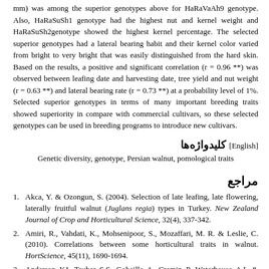mm) was among the superior genotypes above for HaRaVaAh9 genotype. Also, HaRaSuSh1 genotype had the highest nut and kernel weight and HaRaSuSh2genotype showed the highest kernel percentage. The selected superior genotypes had a lateral bearing habit and their kernel color varied from bright to very bright that was easily distinguished from the hard skin. Based on the results, a positive and significant correlation (r = 0.96 **) was observed between leafing date and harvesting date, tree yield and nut weight (r = 0.63 **) and lateral bearing rate (r = 0.73 **) at a probability level of 1%. Selected superior genotypes in terms of many important breeding traits showed superiority in compare with commercial cultivars, so these selected genotypes can be used in breeding programs to introduce new cultivars.
کلیدواژه‌ها [English]
Genetic diversity, genotype, Persian walnut, pomological traits
مراجع
Akca, Y. & Ozongun, S. (2004). Selection of late leafing, late flowering, laterally fruitful walnut (Juglans regia) types in Turkey. New Zealand Journal of Crop and Horticultural Science, 32(4), 337-342.
Amiri, R., Vahdati, K., Mohsenipoor, S., Mozaffari, M. R. & Leslie, C. (2010). Correlations between some horticultural traits in walnut. HortScience, 45(11), 1690-1694.
Anderson, KJ., Teuber, S.S., Gobeille, A., Cremin, P., Waterhouse, A.L. & Steinberg, F.M. (2001). Walnut polyphenolics inhibit in vitro human plasma and LDL oxidation. Journal of Nutrition, 131, 2837-2842.
Angmo, S., Diengngan, S. & Hasan, M. A. (2015). Characterization